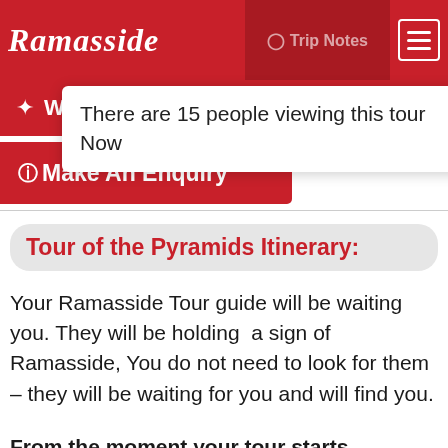Ramasside | Trip Notes
There are 15 people viewing this tour Now
⊙Make An Enquiry
Tour of the Pyramids Itinerary:
Your Ramasside Tour guide will be waiting you. They will be holding  a sign of Ramasside, You do not need to look for them – they will be waiting for you and will find you.
From the moment your tour starts,